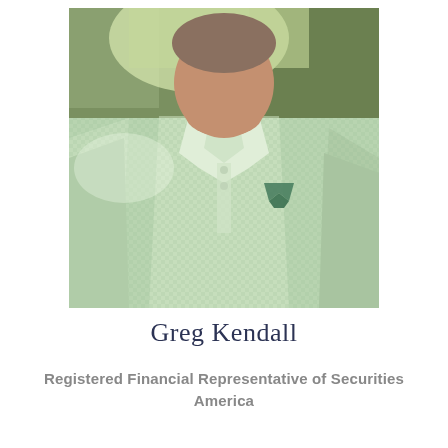[Figure (photo): Portrait photo of Greg Kendall, a man wearing a light green/mint checkered polo shirt with a logo on the chest, photographed outdoors with trees in background. Photo is cropped from approximately shoulder/chest level up.]
Greg Kendall
Registered Financial Representative of Securities America